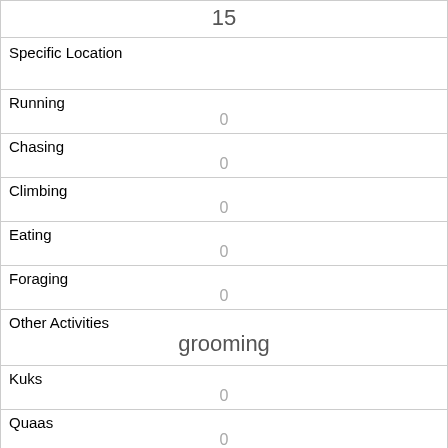| 15 |
| Specific Location |  |
| Running | 0 |
| Chasing | 0 |
| Climbing | 0 |
| Eating | 0 |
| Foraging | 0 |
| Other Activities | grooming |
| Kuks | 0 |
| Quaas | 0 |
| Moans | 0 |